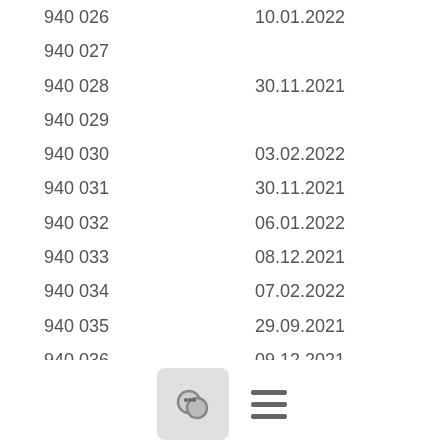| ID | Date |
| --- | --- |
| 940 026 | 10.01.2022 |
| 940 027 |  |
| 940 028 | 30.11.2021 |
| 940 029 |  |
| 940 030 | 03.02.2022 |
| 940 031 | 30.11.2021 |
| 940 032 | 06.01.2022 |
| 940 033 | 08.12.2021 |
| 940 034 | 07.02.2022 |
| 940 035 | 29.09.2021 |
| 940 036 | 09.12.2021 |
| 940 037 | 06.12.2021 |
| 940 038 |  |
| 940 039 | 13.12.2021 |
| 940 040 | 07.04.2022 |
| 940 041 |  |
| 940 042 | 24.02.2022 |
| 940 043 | 27.04.2022 |
| 940 044 | 25.03.2022 |
| 940 045 |  |